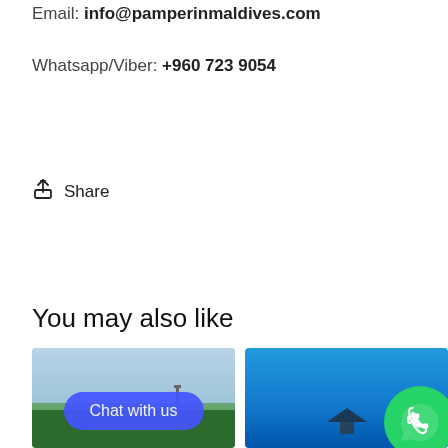Email: info@pamperinmaldives.com
Whatsapp/Viber: +960 723 9054
↑ Share
You may also like
[Figure (photo): Two travel/resort photos side by side. Left: tropical island with trees and a tower, sky above. Right: blue ocean/lagoon with a thatched hut. A blue 'Chat with us' button overlays the left image and a green WhatsApp icon overlays the right image.]